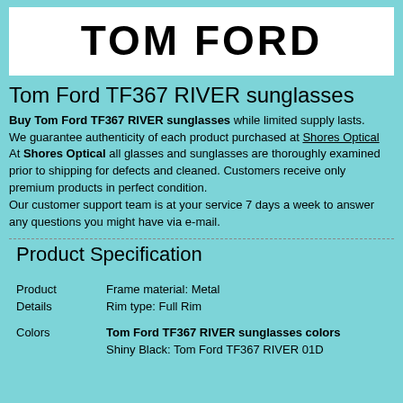[Figure (logo): TOM FORD brand logo in large bold black text on white background]
Tom Ford TF367 RIVER sunglasses
Buy Tom Ford TF367 RIVER sunglasses while limited supply lasts. We guarantee authenticity of each product purchased at Shores Optical At Shores Optical all glasses and sunglasses are thoroughly examined prior to shipping for defects and cleaned. Customers receive only premium products in perfect condition. Our customer support team is at your service 7 days a week to answer any questions you might have via e-mail.
Product Specification
| Product | Frame material: Metal |
| Details | Rim type: Full Rim |
| Colors | Tom Ford TF367 RIVER sunglasses colors |
|  | Shiny Black: Tom Ford TF367 RIVER 01D |